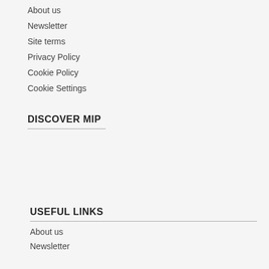About us
Newsletter
Site terms
Privacy Policy
Cookie Policy
Cookie Settings
DISCOVER MIP
USEFUL LINKS
About us
Newsletter